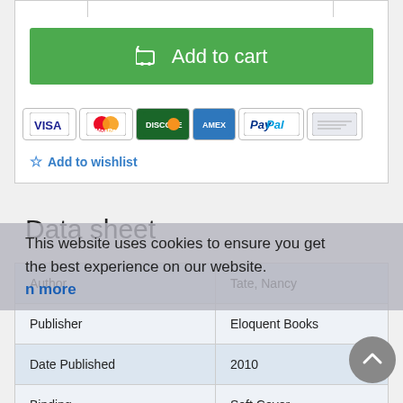[Figure (screenshot): Add to cart button (green) with shopping cart icon]
[Figure (screenshot): Payment method icons: VISA, MasterCard, Discover, American Express, PayPal, Check]
Add to wishlist
Data sheet
|  |  |
| --- | --- |
| Author | Tate, Nancy |
| Publisher | Eloquent Books |
| Date Published | 2010 |
| Binding | Soft Cover |
| Size | 8vo - over 7¾" - 9¾" tall |
| Book Condition | Very Good |
This website uses cookies to ensure you get the best experience on our website. Learn more